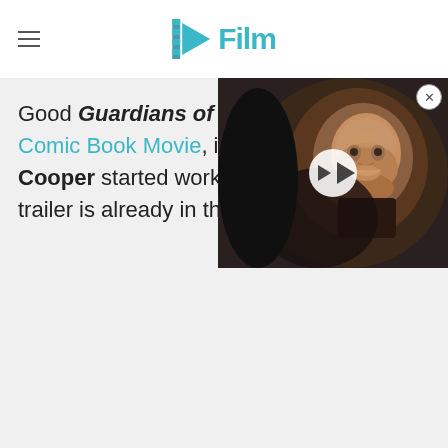/Film
Good Guardians of the Gala... Comic Book Movie, includin... Cooper started working on... trailer is already in the works.
[Figure (photo): Video thumbnail showing a bearded man laughing at what appears to be a panel event, with a white play button overlay in the center]